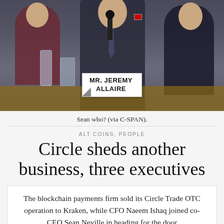[Figure (photo): Screenshot from C-SPAN showing a man in a dark suit testifying, with a nameplate reading 'MR. JEREMY ALLAIRE' on the desk in front of him. Other people are visible in the background.]
Sean who? (via C-SPAN).
ALT COINS, PEOPLE
Circle sheds another business, three executives
The blockchain payments firm sold its Circle Trade OTC operation to Kraken, while CFO Naeem Ishaq joined co-CEO Sean Neville in heading for the door